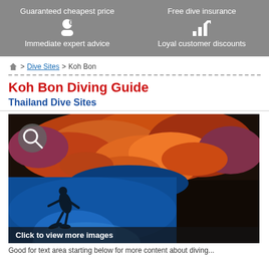Guaranteed cheapest price | Free dive insurance | Immediate expert advice | Loyal customer discounts
> Dive Sites > Koh Bon
Koh Bon Diving Guide
Thailand Dive Sites
[Figure (photo): Underwater photo showing a scuba diver silhouetted against bright blue water below colorful orange and red soft corals covering a rock overhang. Text overlay: 'Click to view more images']
Good for text starting below for more content about diving...